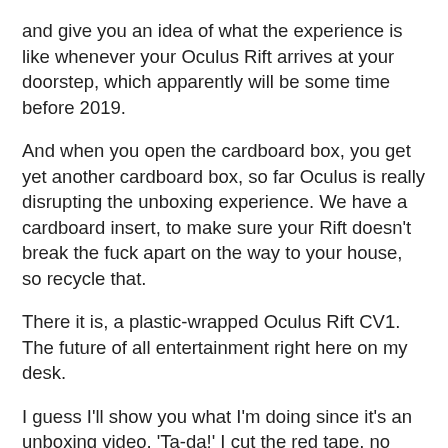and give you an idea of what the experience is like whenever your Oculus Rift arrives at your doorstep, which apparently will be some time before 2019.
And when you open the cardboard box, you get yet another cardboard box, so far Oculus is really disrupting the unboxing experience. We have a cardboard insert, to make sure your Rift doesn't break the fuck apart on the way to your house, so recycle that.
There it is, a plastic-wrapped Oculus Rift CV1. The future of all entertainment right here on my desk.
I guess I'll show you what I'm doing since it's an unboxing video. 'Ta-da!' I cut the red tape, no sending it back now.
Let me just clear this plastic off here. Okay let's get this re-centered. I guess I'll show you from the front instead of the back like an idiot. So you've got a beautiful box here, with a semi-gloss, almost a matte finish on the box, you've got a little nylon handle here at the top of the box, and this kind of l…